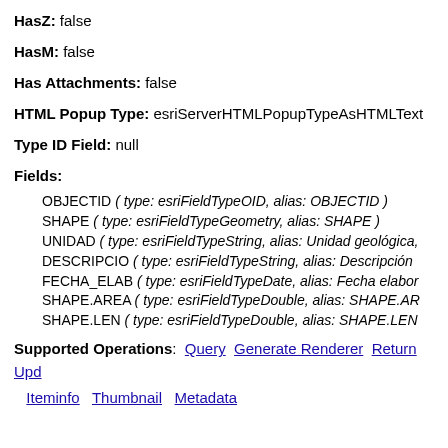HasZ: false
HasM: false
Has Attachments: false
HTML Popup Type: esriServerHTMLPopupTypeAsHTMLText
Type ID Field: null
Fields:
OBJECTID ( type: esriFieldTypeOID, alias: OBJECTID )
SHAPE ( type: esriFieldTypeGeometry, alias: SHAPE )
UNIDAD ( type: esriFieldTypeString, alias: Unidad geológica,
DESCRIPCIO ( type: esriFieldTypeString, alias: Descripción
FECHA_ELAB ( type: esriFieldTypeDate, alias: Fecha elabor
SHAPE.AREA ( type: esriFieldTypeDouble, alias: SHAPE.AR
SHAPE.LEN ( type: esriFieldTypeDouble, alias: SHAPE.LEN
Supported Operations: Query  Generate Renderer  Return Upd
Iteminfo  Thumbnail  Metadata